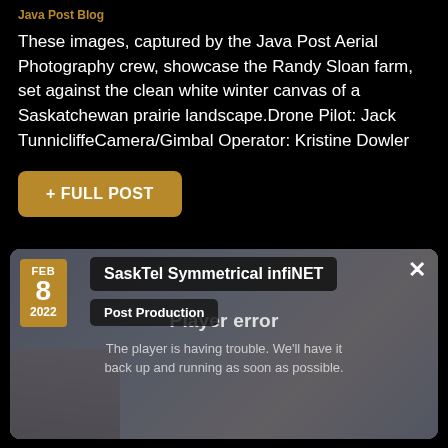Java Post Blog
These images, captured by the Java Post Aerial Photography crew, showcase the Randy Sloan farm, set against the clean white winter canvas of a Saskatchewan prairie landscape.Drone Pilot: Jack TunnicliffeCamera/Gimbal Operator: Kristine Dowler
+ FULL POST
[Figure (screenshot): Video player card showing 'SaskTel Symmetrical infiNET' title with 'Post Production' category, date badge FEB 8 2022, a close X button, and a player error overlay reading 'Player error - The player is having trouble. We'll have it back up and running as soon as possible.']